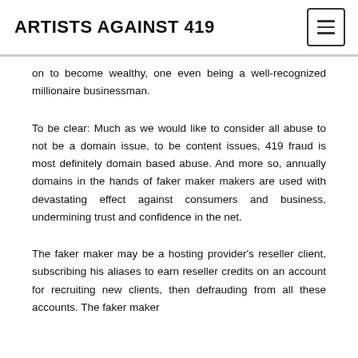ARTISTS AGAINST 419
on to become wealthy, one even being a well-recognized millionaire businessman.
To be clear: Much as we would like to consider all abuse to not be a domain issue, to be content issues, 419 fraud is most definitely domain based abuse. And more so, annually domains in the hands of faker maker makers are used with devastating effect against consumers and business, undermining trust and confidence in the net.
The faker maker may be a hosting provider's reseller client, subscribing his aliases to earn reseller credits on an account for recruiting new clients, then defrauding from all these accounts. The faker maker